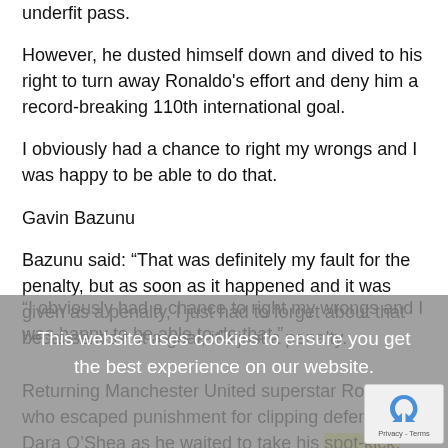underfit pass.
However, he dusted himself down and dived to his right to turn away Ronaldo's effort and deny him a record-breaking 110th international goal.
I obviously had a chance to right my wrongs and I was happy to be able to do that.
Gavin Bazunu
Bazunu said: “That was definitely my fault for the penalty, but as soon as it happened and it was given as a penalty, I just had to forget about that because it’s not a goal, it’s just a penalty.
“I obviously had a chance to right my wrongs and I was happy to be able to do that.”
This website uses cookies to ensure you get the best experience on our website.
Returning Manchester United superstar Ronaldo, who escaped punishment for clipping defender Dara O’Shea as he waited to take his spot-kick, ultimately had the last laugh when he cancelled out John Egan’s first-half opener with 89th-minute header and then scored the winner in stoppage time.